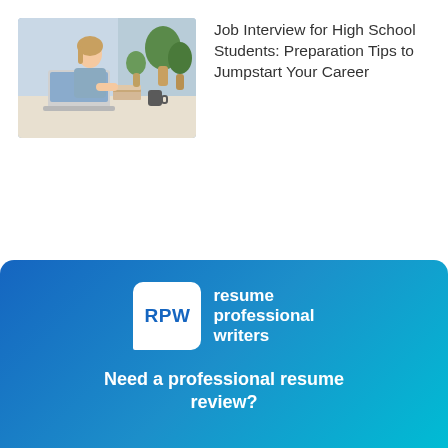[Figure (photo): Young woman sitting at a desk with a laptop, books, and plants in the background, working or studying]
Job Interview for High School Students: Preparation Tips to Jumpstart Your Career
[Figure (logo): Resume Professional Writers logo banner with blue gradient background. RPW logo box with white background and blue RPW text, next to 'resume professional writers' wordmark in white. Tagline: Need a professional resume review?]